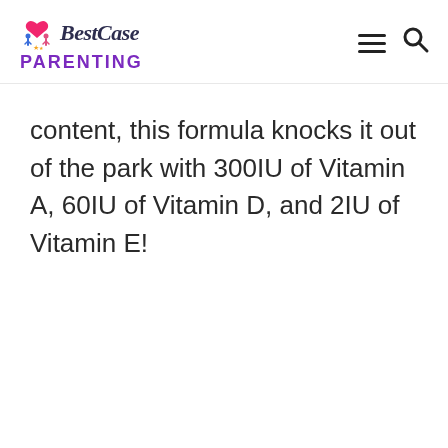BestCase PARENTING
content, this formula knocks it out of the park with 300IU of Vitamin A, 60IU of Vitamin D, and 2IU of Vitamin E!